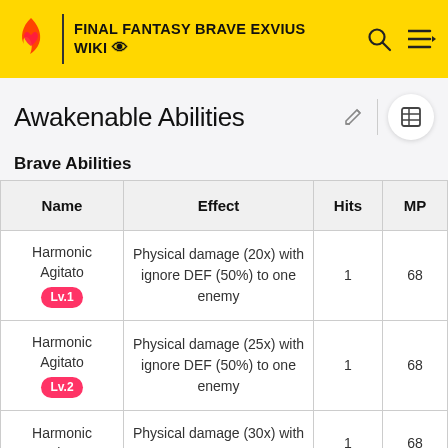FINAL FANTASY BRAVE EXVIUS WIKI
Awakenable Abilities
Brave Abilities
| Name | Effect | Hits | MP |
| --- | --- | --- | --- |
| Harmonic Agitato Lv.1 | Physical damage (20x) with ignore DEF (50%) to one enemy | 1 | 68 |
| Harmonic Agitato Lv.2 | Physical damage (25x) with ignore DEF (50%) to one enemy | 1 | 68 |
| Harmonic Agitato | Physical damage (30x) with ignore DEF (50%) to one | 1 | 68 |